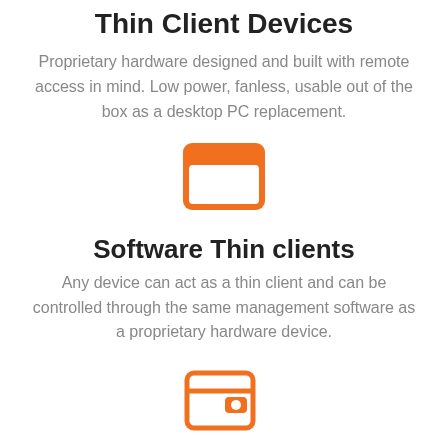Thin Client Devices
Proprietary hardware designed and built with remote access in mind. Low power, fanless, usable out of the box as a desktop PC replacement.
[Figure (illustration): Orange browser/window icon — a rounded rectangle with an orange top bar and white content area below]
Software Thin clients
Any device can act as a thin client and can be controlled through the same management software as a proprietary hardware device.
[Figure (illustration): Orange wallet icon — partially visible at the bottom of the page]